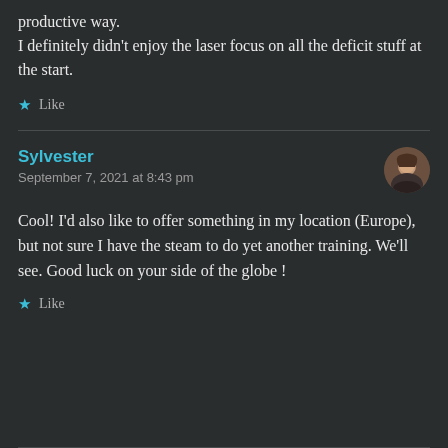productive way.
I definitely didn't enjoy the laser focus on all the deficit stuff at the start.
★ Like
Sylvester
September 7, 2021 at 8:43 pm
Cool! I'd also like to offer something in my location (Europe), but not sure I have the steam to do yet another training. We'll see. Good luck on your side of the globe !
★ Like